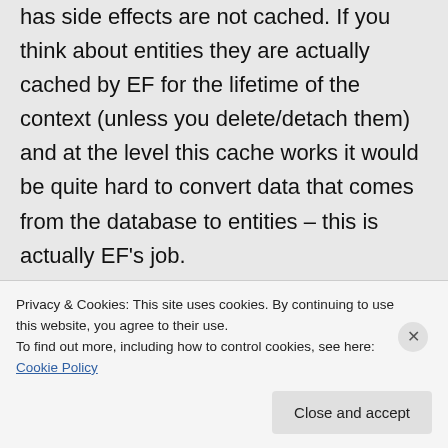has side effects are not cached. If you think about entities they are actually cached by EF for the lifetime of the context (unless you delete/detach them) and at the level this cache works it would be quite hard to convert data that comes from the database to entities – this is actually EF's job.
Hope this helps,
Pawel
★ Like
Privacy & Cookies: This site uses cookies. By continuing to use this website, you agree to their use.
To find out more, including how to control cookies, see here: Cookie Policy
Close and accept